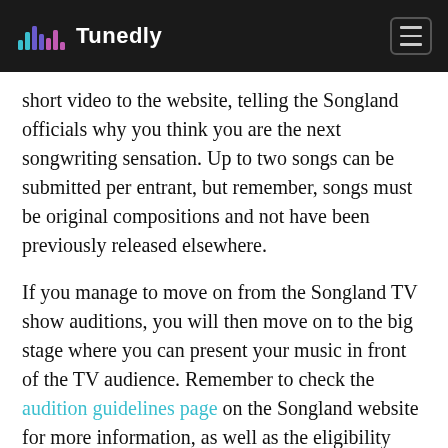Tunedly
short video to the website, telling the Songland officials why you think you are the next songwriting sensation. Up to two songs can be submitted per entrant, but remember, songs must be original compositions and not have been previously released elsewhere.
If you manage to move on from the Songland TV show auditions, you will then move on to the big stage where you can present your music in front of the TV audience. Remember to check the audition guidelines page on the Songland website for more information, as well as the eligibility requirements, so you have a clear idea as to what’s expected.